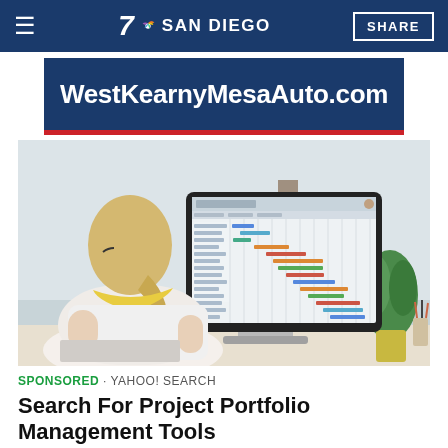≡  7 NBC SAN DIEGO  SHARE
[Figure (other): Advertisement banner for WestKearnyMesaAuto.com with white bold text on dark navy background and red bottom border]
[Figure (photo): Woman with blonde hair and glasses viewed from behind, sitting at a desk looking at a large computer monitor displaying a project management Gantt chart application, with a green potted plant on the right side of the desk]
SPONSORED · YAHOO! SEARCH
Search For Project Portfolio Management Tools